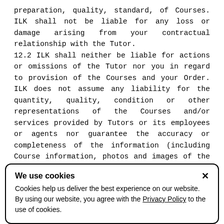preparation, quality, standard, of Courses. ILK shall not be liable for any loss or damage arising from your contractual relationship with the Tutor. 12.2 ILK shall neither be liable for actions or omissions of the Tutor nor you in regard to provision of the Courses and your Order. ILK does not assume any liability for the quantity, quality, condition or other representations of the Courses and/or services provided by Tutors or its employees or agents nor guarantee the accuracy or completeness of the information (including Course information, photos and images of the Courses) displayed on the Tutor's listing/offering on ILK Platform Channels. Nothing in these Terms shall exclude Tutor's liability for death or
We use cookies
Cookies help us deliver the best experience on our website. By using our website, you agree with the Privacy Policy to the use of cookies.